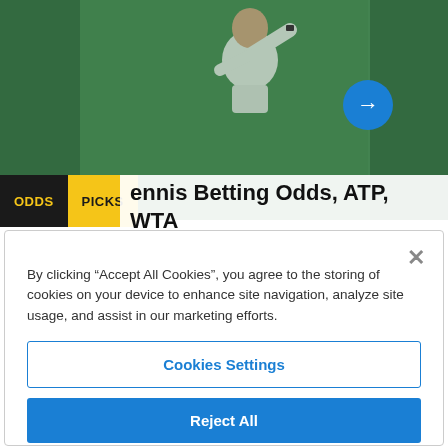[Figure (photo): Tennis player in white shirt on a green court, partially cropped. A blue circular arrow button is visible on the right side of the image.]
Tennis Betting Odds, ATP, WTA Events, Stats & Information
By clicking “Accept All Cookies”, you agree to the storing of cookies on your device to enhance site navigation, analyze site usage, and assist in our marketing efforts.
Cookies Settings
Reject All
Accept All Cookies